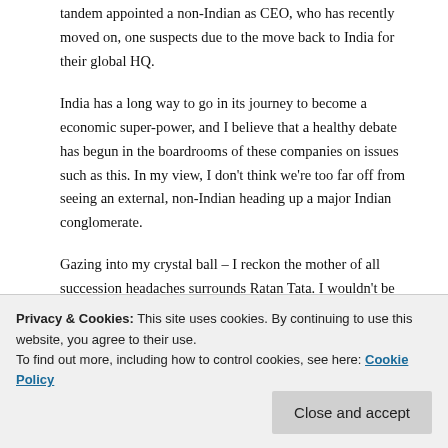tandem appointed a non-Indian as CEO, who has recently moved on, one suspects due to the move back to India for their global HQ.
India has a long way to go in its journey to become a economic super-power, and I believe that a healthy debate has begun in the boardrooms of these companies on issues such as this. In my view, I don't think we're too far off from seeing an external, non-Indian heading up a major Indian conglomerate.
Gazing into my crystal ball – I reckon the mother of all succession headaches surrounds Ratan Tata. I wouldn't be surprised if Tata Sons opted for a (a) external person (b) of non-Indian origin (despite the prominence provided
Watch this space…
This entry was posted in Global business, India Inc and tagged alan rosling, bombay house, brian tempest,
Privacy & Cookies: This site uses cookies. By continuing to use this website, you agree to their use. To find out more, including how to control cookies, see here: Cookie Policy